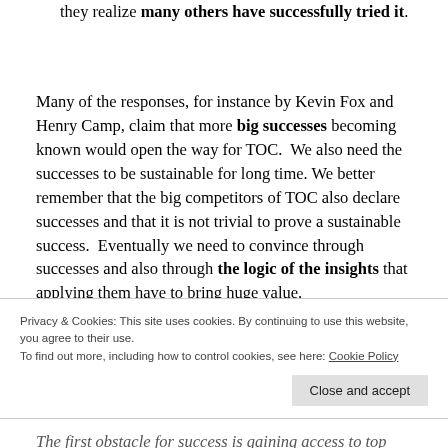they realize many others have successfully tried it.
Many of the responses, for instance by Kevin Fox and Henry Camp, claim that more big successes becoming known would open the way for TOC. We also need the successes to be sustainable for long time. We better remember that the big competitors of TOC also declare successes and that it is not trivial to prove a sustainable success. Eventually we need to convince through successes and also through the logic of the insights that applying them have to bring huge value.
Privacy & Cookies: This site uses cookies. By continuing to use this website, you agree to their use.
To find out more, including how to control cookies, see here: Cookie Policy
Close and accept
The first obstacle for success is gaining access to top